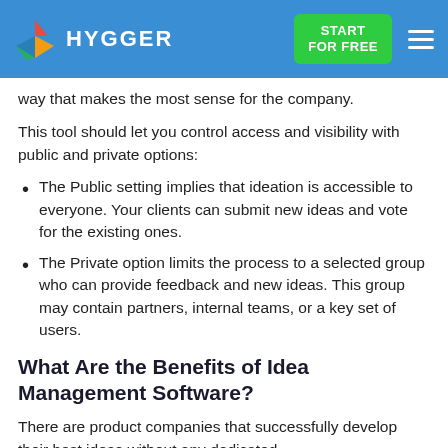HYGGER — START FOR FREE
way that makes the most sense for the company.
This tool should let you control access and visibility with public and private options:
The Public setting implies that ideation is accessible to everyone. Your clients can submit new ideas and vote for the existing ones.
The Private option limits the process to a selected group who can provide feedback and new ideas. This group may contain partners, internal teams, or a key set of users.
What Are the Benefits of Idea Management Software?
There are product companies that successfully develop their best ideas without any dedicated